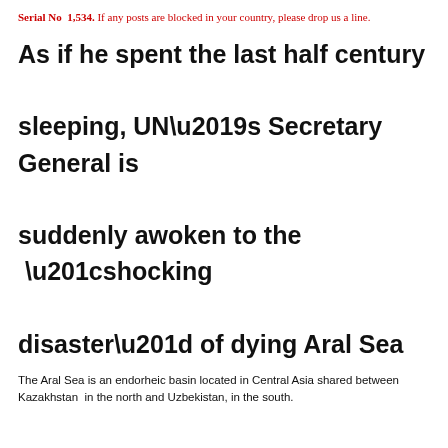Serial No  1,534. If any posts are blocked in your country, please drop us a line.
As if he spent the last half century sleeping, UN’s Secretary General is suddenly awoken to the “shocking disaster” of dying Aral Sea
The Aral Sea is an endorheic basin located in Central Asia shared between Kazakhstan  in the north and Uzbekistan, in the south.